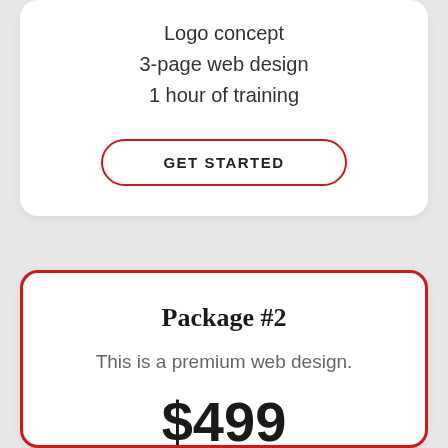Logo concept
3-page web design
1 hour of training
GET STARTED
Package #2
This is a premium web design.
$499